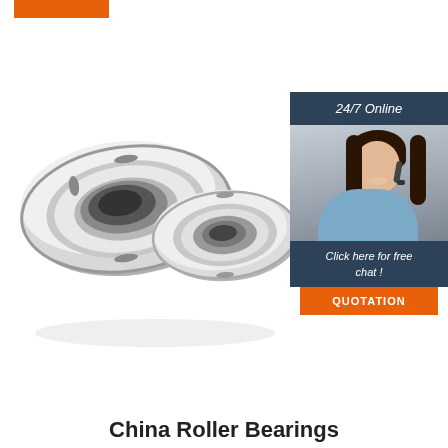[Figure (infographic): Orange button at top left of page, partially visible]
[Figure (photo): Two chrome/steel roller bearings (ball bearings with metal shields) photographed on white background. One larger bearing in front-left, one smaller bearing behind-right.]
[Figure (infographic): 24/7 Online customer service panel on right side. Dark blue/grey header with '24/7 Online' text, photo of smiling woman with headset, dark blue section with 'Click here for free chat!', orange button with 'QUOTATION']
China Roller Bearings